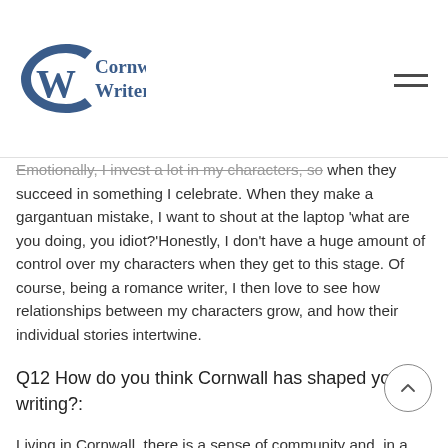Cornwall Writers
Emotionally, I invest a lot in my characters, so when they succeed in something I celebrate. When they make a gargantuan mistake, I want to shout at the laptop 'what are you doing, you idiot?'Honestly, I don't have a huge amount of control over my characters when they get to this stage. Of course, being a romance writer, I then love to see how relationships between my characters grow, and how their individual stories intertwine.
Q12 How do you think Cornwall has shaped your writing?:
Living in Cornwall, there is a sense of community and, in a way, that way of living has helped shape...